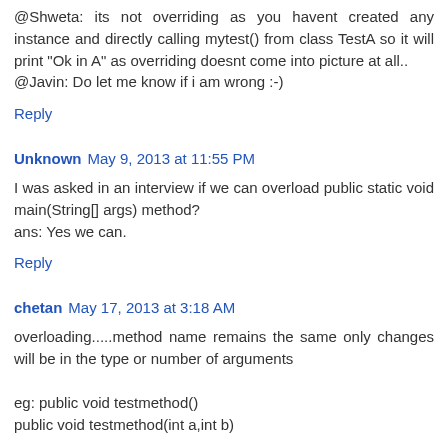@Shweta: its not overriding as you havent created any instance and directly calling mytest() from class TestA so it will print "Ok in A" as overriding doesnt come into picture at all..
@Javin: Do let me know if i am wrong :-)
Reply
Unknown  May 9, 2013 at 11:55 PM
I was asked in an interview if we can overload public static void main(String[] args) method?
ans: Yes we can.
Reply
chetan  May 17, 2013 at 3:18 AM
overloading.....method name remains the same only changes will be in the type or number of arguments
eg: public void testmethod()
public void testmethod(int a,int b)